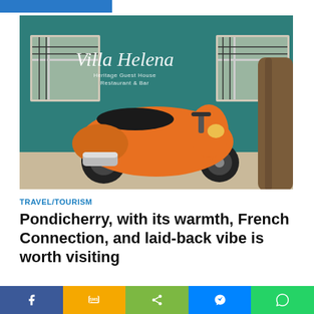[Figure (photo): Orange Vespa scooter parked in front of teal building with 'Villa Helena Heritage Guest House Restaurant & Bar' sign]
TRAVEL/TOURISM
Pondicherry, with its warmth, French Connection, and laid-back vibe is worth visiting
Social share bar: Facebook, SMS, Share, Messenger, WhatsApp